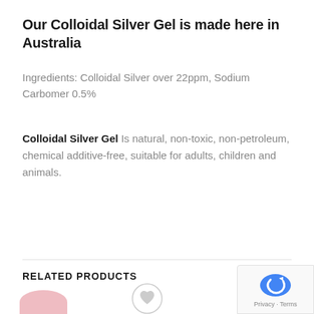Our Colloidal Silver Gel is made here in Australia
Ingredients: Colloidal Silver over 22ppm, Sodium Carbomer 0.5%
Colloidal Silver Gel Is natural, non-toxic, non-petroleum, chemical additive-free, suitable for adults, children and animals.
RELATED PRODUCTS